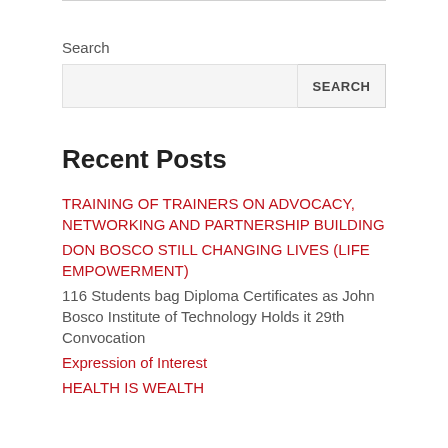Search
Recent Posts
TRAINING OF TRAINERS ON ADVOCACY, NETWORKING AND PARTNERSHIP BUILDING
DON BOSCO STILL CHANGING LIVES (LIFE EMPOWERMENT)
116 Students bag Diploma Certificates as John Bosco Institute of Technology Holds it 29th Convocation
Expression of Interest
HEALTH IS WEALTH